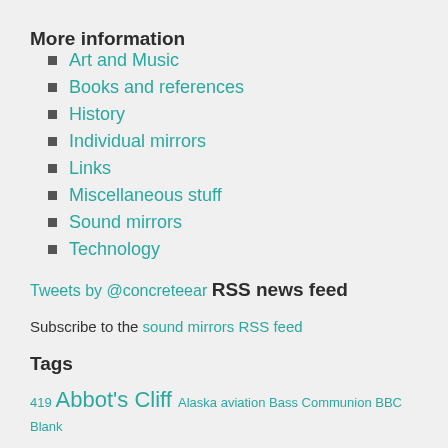More information
Art and Music
Books and references
History
Individual mirrors
Links
Miscellaneous stuff
Sound mirrors
Technology
Tweets by @concreteear
RSS news feed
Subscribe to the sound mirrors RSS feed
Tags
419 Abbot's Cliff Alaska aviation Bass Communion BBC Blank